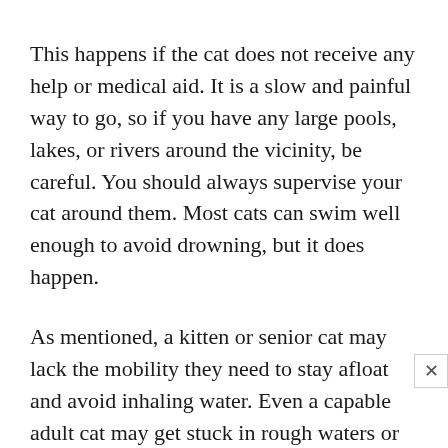This happens if the cat does not receive any help or medical aid. It is a slow and painful way to go, so if you have any large pools, lakes, or rivers around the vicinity, be careful. You should always supervise your cat around them. Most cats can swim well enough to avoid drowning, but it does happen.
As mentioned, a kitten or senior cat may lack the mobility they need to stay afloat and avoid inhaling water. Even a capable adult cat may get stuck in rough waters or run out of energy before it can pull itself onto land. If you haven't witnessed your cat expertly swimming in the